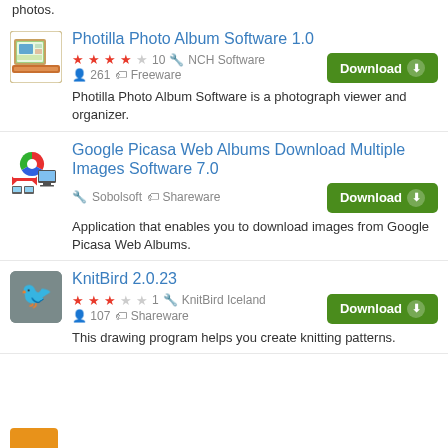photos.
Photilla Photo Album Software 1.0 — ★★★★☆ 10 — NCH Software — 261 — Freeware — Download — Photilla Photo Album Software is a photograph viewer and organizer.
Google Picasa Web Albums Download Multiple Images Software 7.0 — Sobolsoft — Shareware — Download — Application that enables you to download images from Google Picasa Web Albums.
KnitBird 2.0.23 — ★★★☆☆ 1 — KnitBird Iceland — 107 — Shareware — Download — This drawing program helps you create knitting patterns.